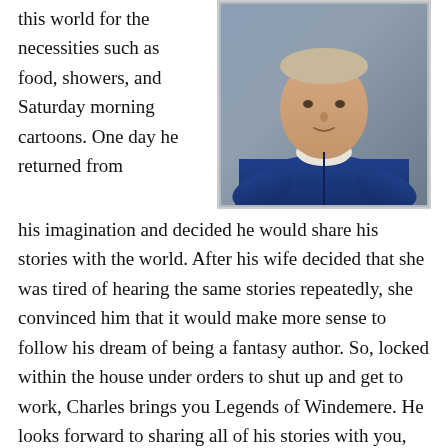this world for the necessities such as food, showers, and Saturday morning cartoons. One day he returned from
[Figure (photo): Portrait photo of a man wearing a blue cardigan sweater, leaning forward slightly, against a grey background.]
his imagination and decided he would share his stories with the world. After his wife decided that she was tired of hearing the same stories repeatedly, she convinced him that it would make more sense to follow his dream of being a fantasy author. So, locked within the house under orders to shut up and get to work, Charles brings you Legends of Windemere. He looks forward to sharing all of his stories with you, and his wife is happy to finally have some peace and quiet.